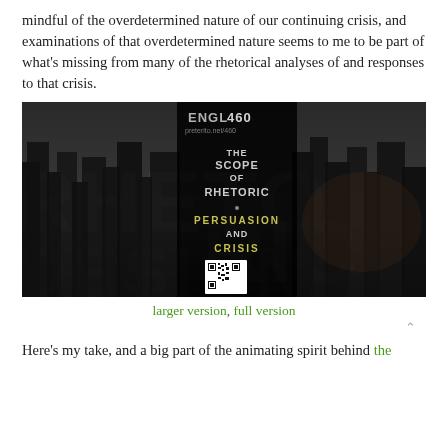mindful of the overdetermined nature of our continuing crisis, and examinations of that overdetermined nature seems to me to be part of what's missing from many of the rhetorical analyses of and responses to that crisis.
[Figure (photo): Book cover or course poster for ENGL 460 at preterito.net/460, showing a dark dystopian cityscape with overlaid large text reading 'RHETORIC' and 'DESIGN'. A central dark panel displays: 'THE SCOPE OF RHETORIC · PERSUASION AND CRISIS' with a QR code at the bottom.]
larger version, full version
Here's my take, and a big part of the animating spirit behind the